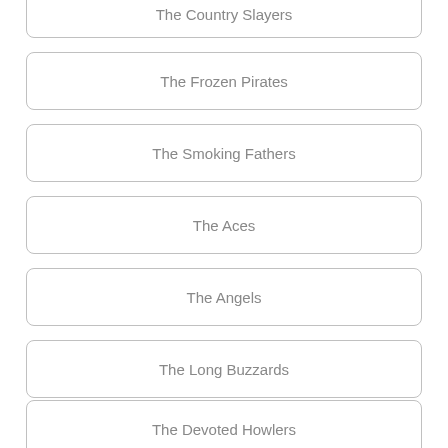The Country Slayers
The Frozen Pirates
The Smoking Fathers
The Aces
The Angels
The Long Buzzards
The Devoted Howlers